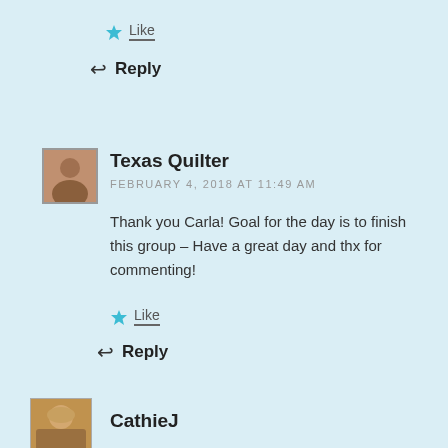Like
Reply
[Figure (photo): Avatar photo of Texas Quilter commenter]
Texas Quilter
FEBRUARY 4, 2018 AT 11:49 AM
Thank you Carla! Goal for the day is to finish this group – Have a great day and thx for commenting!
Like
Reply
[Figure (photo): Avatar photo of CathieJ commenter]
CathieJ